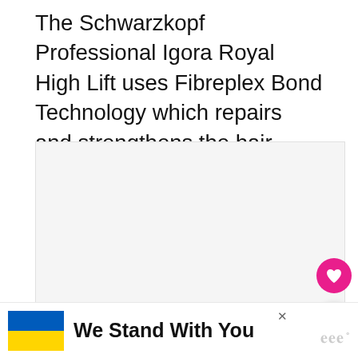The Schwarzkopf Professional Igora Royal High Lift uses Fibreplex Bond Technology which repairs and strengthens the hair bonds during the colouring process. This means less hair damage, dryness and frizz.
ADVERTISEMENT
[Figure (screenshot): Advertisement placeholder box with grey background]
[Figure (infographic): Heart (like) button - pink circle with white heart icon]
[Figure (infographic): Share button - white circle with share icon]
[Figure (infographic): What's Next panel: thumbnail of dark hair, label 'WHAT'S NEXT' with arrow, text 'How to Dye Dark Hair...']
[Figure (infographic): Bottom advertisement banner: Ukrainian flag (blue and yellow), text 'We Stand With You', close X button, WMW logo]